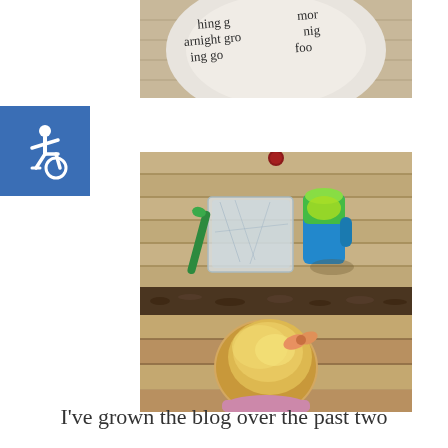[Figure (photo): Cropped top portion of a photo showing a child's outfit/shirt with cursive text visible including words like 'nothing grows overnight', photographed outdoors on wooden decking]
[Figure (illustration): Accessibility wheelchair symbol icon in white on a blue square background]
[Figure (photo): Overhead view photo on a wooden deck table showing a folded clear plastic bag, a green spoon/utensil, and a blue-and-green sippy cup with yellow-green liquid; below that, a toddler with blonde hair and a pink shirt viewed from above, leaning over wooden deck steps]
I've grown the blog over the past two